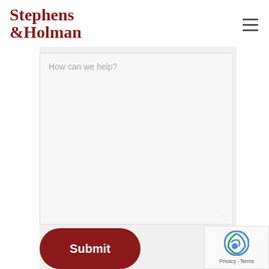[Figure (logo): Stephens & Holman law firm logo in dark red serif font]
[Figure (other): Hamburger menu icon — three horizontal lines]
How can we help?
Submit
[Figure (other): Google reCAPTCHA badge with Privacy and Terms links]